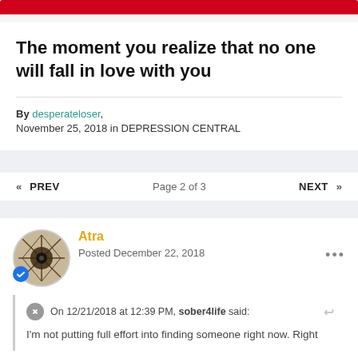The moment you realize that no one will fall in love with you
By desperateloser, November 25, 2018 in DEPRESSION CENTRAL
« PREV   Page 2 of 3   NEXT »
Atra
Posted December 22, 2018
On 12/21/2018 at 12:39 PM, sober4life said:
I'm not putting full effort into finding someone right now. Right